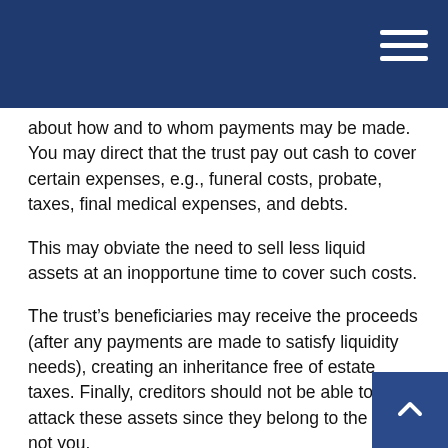about how and to whom payments may be made. You may direct that the trust pay out cash to cover certain expenses, e.g., funeral costs, probate, taxes, final medical expenses, and debts.
This may obviate the need to sell less liquid assets at an inopportune time to cover such costs.
The trust’s beneficiaries may receive the proceeds (after any payments are made to satisfy liquidity needs), creating an inheritance free of estate taxes. Finally, creditors should not be able to attack these assets since they belong to the trust, not you.
Creating an ILIT should be done only with the assistance of a qualified estate planning attorney. It is a complicated exercise in which mistakes may result in losing the benefits ILITs offer.